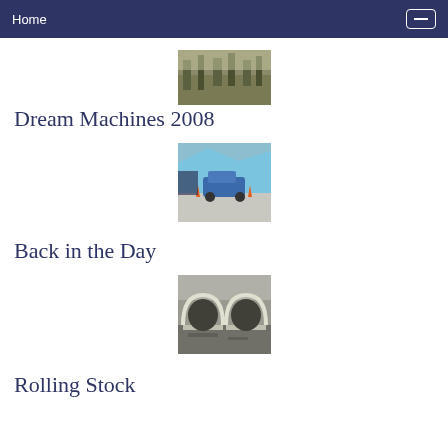Home
[Figure (photo): Partial photo of trees/brush landscape, cropped at top of page]
Dream Machines 2008
[Figure (photo): Photo of a blue car on a track/parking lot with orange cones and spectators]
Back in the Day
[Figure (photo): Black and white photo of a tunnel/culvert under construction with mud and debris]
Rolling Stock